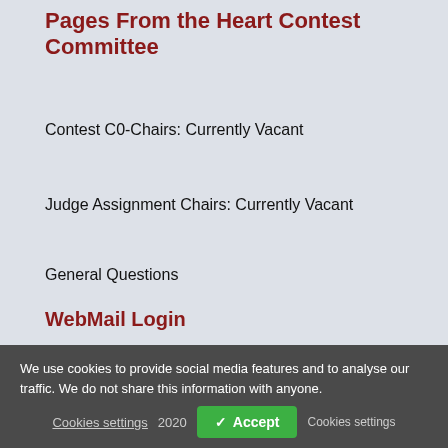Pages From the Heart Contest Committee
Contest C0-Chairs: Currently Vacant
Judge Assignment Chairs: Currently Vacant
General Questions
WebMail Login
Click Here to log in to WebMail
We use cookies to provide social media features and to analyse our traffic. We do not share this information with anyone.
Cookies settings 2020 ✓ Accept Cookies settings